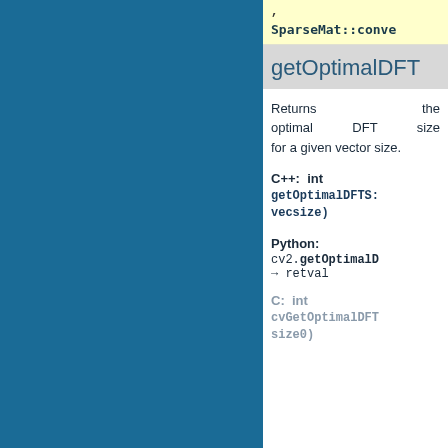SparseMat::conve
getOptimalDFT
Returns the optimal DFT size for a given vector size.
C++: int getOptimalDFTS::vecsize)
Python: cv2.getOptimalD → retval
C: int cvGetOptimalDFT size0)